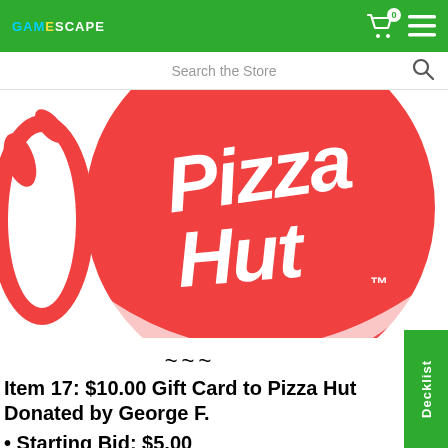GAMESCAPE — navigation bar with cart (0) and menu
Search the Store
[Figure (logo): Pizza Hut logo: red circle with white scripted text 'Pizza Hut' and trademark symbol TM, on white background with red curved swoosh element on left side]
~~~
Item 17:  $10.00 Gift Card to Pizza Hut  Donated by George F.
• Starting Bid: $5.00